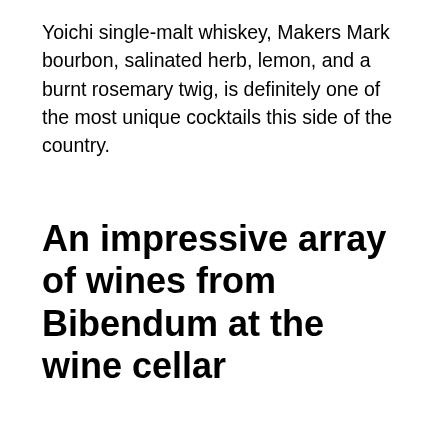Yoichi single-malt whiskey, Makers Mark bourbon, salinated herb, lemon, and a burnt rosemary twig, is definitely one of the most unique cocktails this side of the country.
An impressive array of wines from Bibendum at the wine cellar